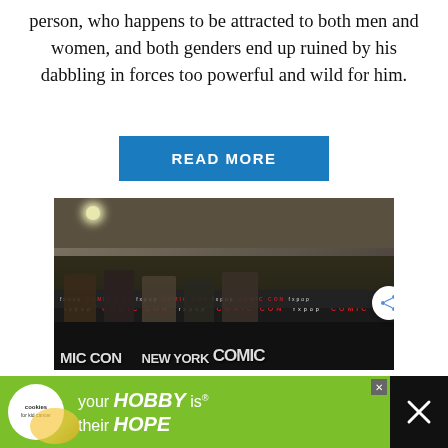person, who happens to be attracted to both men and women, and both genders end up ruined by his dabbling in forces too powerful and wild for him.
READ MORE
[Figure (photo): Panel of people seated at a table at New York Comic Con, with branded banners behind them.]
[Figure (infographic): Advertisement banner: 'cookies for kid cancer' logo, text reading 'your HOBBY is their HOPE']